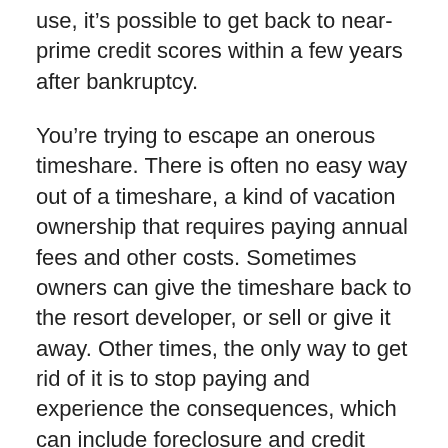use, it's possible to get back to near-prime credit scores within a few years after bankruptcy.
You're trying to escape an onerous timeshare. There is often no easy way out of a timeshare, a kind of vacation ownership that requires paying annual fees and other costs. Sometimes owners can give the timeshare back to the resort developer, or sell or give it away. Other times, the only way to get rid of it is to stop paying and experience the consequences, which can include foreclosure and credit score damage.
It's impossible to predict the potential costs of lower credit scores, but older